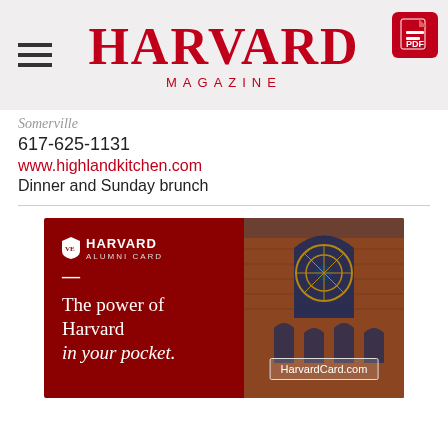HARVARD MAGAZINE
Somerville
617-625-1131
www.highlandkitchen.com
Dinner and Sunday brunch
[Figure (infographic): Harvard Alumni Card advertisement. Left panel: dark red background with Harvard shield logo, text 'HARVARD ALUMNI CARD', dash line, and tagline 'The power of Harvard in your pocket.' Right panel: photograph of Harvard building with Gothic rose window. Bottom right has a button reading 'HarvardCard.com'.]